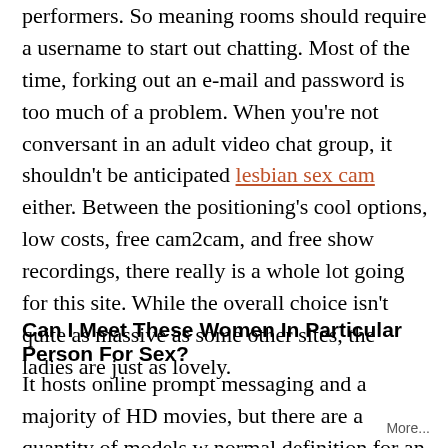performers. So meaning rooms should require a username to start out chatting. Most of the time, forking out an e-mail and password is too much of a problem. When you're not conversant in an adult video chat group, it shouldn't be anticipated lesbian sex cam either. Between the positioning's cool options, low costs, free cam2cam, and free show recordings, there really is a whole lot going for this site. While the overall choice isn't quite as massive as some other sites, the ladies are just as lovely.
Can I Meet These Women In Particular Person For Sex?
It hosts online prompt messaging and a majority of HD movies, but there are a quantity of models w normal definition for an novice aesthetic. Th